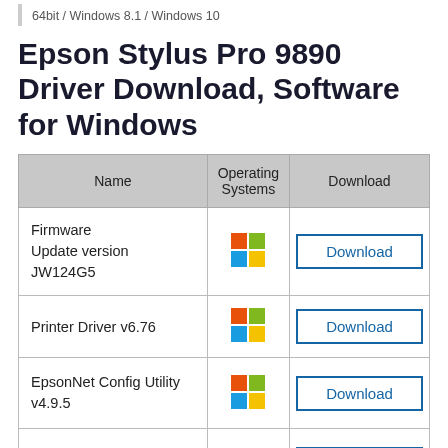64bit / Windows 8.1 / Windows 10
Epson Stylus Pro 9890 Driver Download, Software for Windows
| Name | Operating Systems | Download |
| --- | --- | --- |
| Firmware Update version JW124G5 | [Windows icon] | Download |
| Printer Driver v6.76 | [Windows icon] | Download |
| EpsonNet Config Utility v4.9.5 | [Windows icon] | Download |
| ... | [Windows icon] | Download |